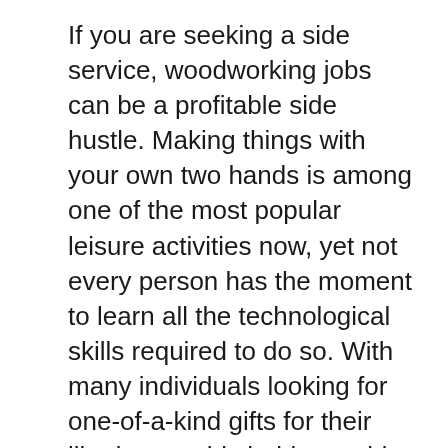If you are seeking a side service, woodworking jobs can be a profitable side hustle. Making things with your own two hands is among one of the most popular leisure activities now, yet not every person has the moment to learn all the technological skills required to do so. With many individuals looking for one-of-a-kind gifts for their liked ones, this hobby could be the ideal means to make money. People value unique gifts and also will certainly more than happy to pay you for them.
Beginner woodworking tasks
There are several beginners woodworking projects to pick from. Despite the fact that woodworking can be difficult, these projects